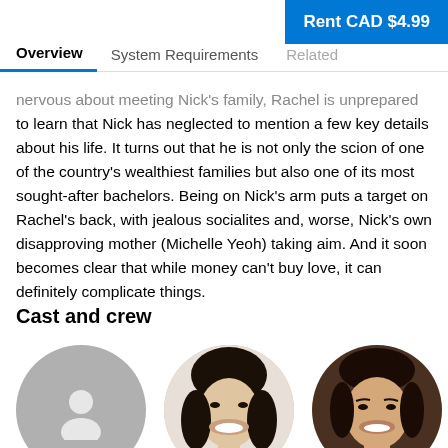Rent CAD $4.99
Overview | System Requirements | Related
nervous about meeting Nick's family, Rachel is unprepared to learn that Nick has neglected to mention a few key details about his life. It turns out that he is not only the scion of one of the country's wealthiest families but also one of its most sought-after bachelors. Being on Nick's arm puts a target on Rachel's back, with jealous socialites and, worse, Nick's own disapproving mother (Michelle Yeoh) taking aim. And it soon becomes clear that while money can't buy love, it can definitely complicate things.
Cast and crew
[Figure (photo): Placeholder person icon circle]
[Figure (photo): Photo of actress with dark hair smiling]
[Figure (photo): Photo of actor with dark hair smiling]